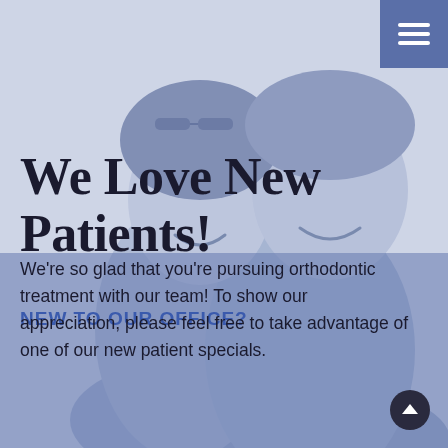[Figure (photo): A smiling couple, a woman and a man, photographed from the chest up. The woman is in front with glasses on her head; the man is behind her. The image is rendered in a blue-gray monochromatic tone against a white background.]
We Love New Patients!
NEW TO OUR OFFICE?
We're so glad that you're pursuing orthodontic treatment with our team! To show our appreciation, please feel free to take advantage of one of our new patient specials.